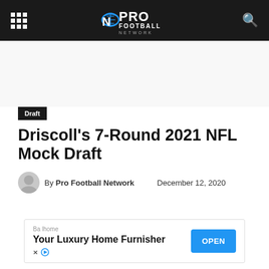Pro Football Network
Draft
Driscoll's 7-Round 2021 NFL Mock Draft
By Pro Football Network  December 12, 2020
[Figure (other): Advertisement banner: Balhome - Your Luxury Home Furnisher with OPEN button]